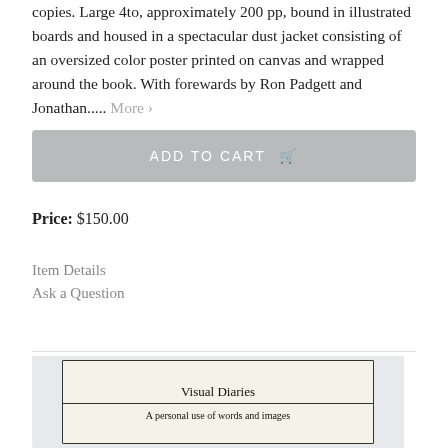copies. Large 4to, approximately 200 pp, bound in illustrated boards and housed in a spectacular dust jacket consisting of an oversized color poster printed on canvas and wrapped around the book. With forewards by Ron Padgett and Jonathan..... More ›
ADD TO CART
Price: $150.00
Item Details
Ask a Question
[Figure (photo): Photograph of a book cover titled 'Visual Diaries - A personal use of words and images', handwritten on a cream-colored page with a hand-drawn border, displayed against a light grey background.]